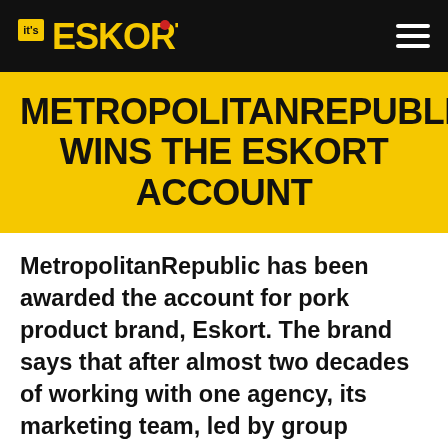It's Eskort
METROPOLITANREPUBLIC WINS THE ESKORT ACCOUNT
MetropolitanRepublic has been awarded the account for pork product brand, Eskort. The brand says that after almost two decades of working with one agency, its marketing team, led by group marketing manager Marcelle Pienaar. went to market with a list of requirements, looking for an